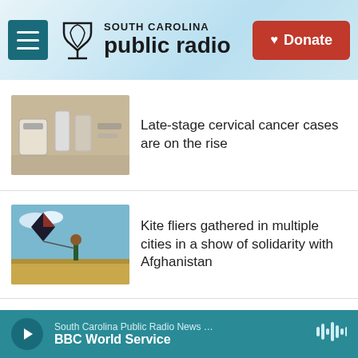[Figure (screenshot): South Carolina Public Radio website header with hamburger menu, SC Public Radio logo, and red Donate button]
[Figure (photo): Medical/clinical photo showing medication bottles and syringes on a table]
Late-stage cervical cancer cases are on the rise
[Figure (photo): Person flying a large black kite in an open field]
Kite fliers gathered in multiple cities in a show of solidarity with Afghanistan
[Figure (photo): Man with glasses and brown jacket, Dan Levy from Schitt's Creek]
'Schitt's Creek' star Dan Levy joins the 'Sex Education' cast in Season 4
South Carolina Public Radio News … BBC World Service